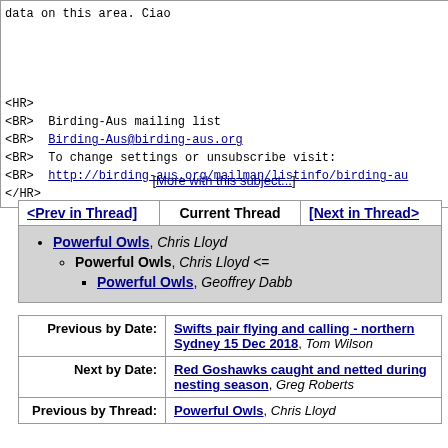data on this area. Ciao
<HR>
<BR> Birding-Aus mailing list
<BR> Birding-Aus@birding-aus.org
<BR> To change settings or unsubscribe visit:
<BR> http://birding-aus.org/mailman/listinfo/birding-au
</HR>
[More with this subject...]
| <Prev in Thread] | Current Thread | [Next in Thread> |
| --- | --- | --- |
| Powerful Owls, Chris Lloyd
  Powerful Owls, Chris Lloyd <=
    Powerful Owls, Geoffrey Dabb |  |  |
| Previous by Date: | Next by Date: | Previous by Thread: |
| --- | --- | --- |
| Swifts pair flying and calling - northern Sydney 15 Dec 2018, Tom Wilson | Red Goshawks caught and netted during nesting season, Greg Roberts | Powerful Owls, Chris Lloyd |